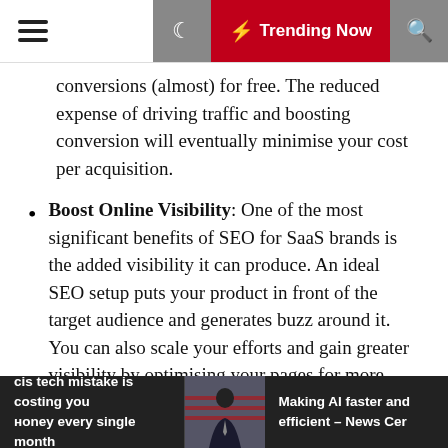☰  🌙  ⚡ Trending Now  🔍
conversions (almost) for free. The reduced expense of driving traffic and boosting conversion will eventually minimise your cost per acquisition.
Boost Online Visibility: One of the most significant benefits of SEO for SaaS brands is the added visibility it can produce. An ideal SEO setup puts your product in front of the target audience and generates buzz around it. You can also scale your efforts and gain greater visibility by optimising your pages for more keywords.
Now that you know the difference SEO can bring about, let's jump to an 11-step roadmap to help you create your SEO strategy.
11-Step Process To Create And
is tech mistake is costing you oney every single month   Making AI faster an efficient – News Cer